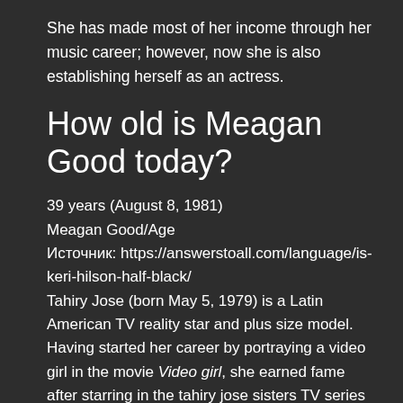She has made most of her income through her music career; however, now she is also establishing herself as an actress.
How old is Meagan Good today?
39 years (August 8, 1981)
Meagan Good/Age
Источник: https://answerstoall.com/language/is-keri-hilson-half-black/
Tahiry Jose (born May 5, 1979) is a Latin American TV reality star and plus size model. Having started her career by portraying a video girl in the movie Video girl, she earned fame after starring in the tahiry jose sisters TV series Love and Hip Hop: New York.